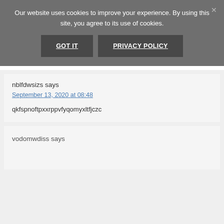Our website uses cookies to improve your experience. By using this site, you agree to its use of cookies.
GOT IT
PRIVACY POLICY
nblfdwsizs says
September 13, 2020 at 08:48
qkfspnoftpxxrppvfyqomyxltfjczc
vodomwdiss says